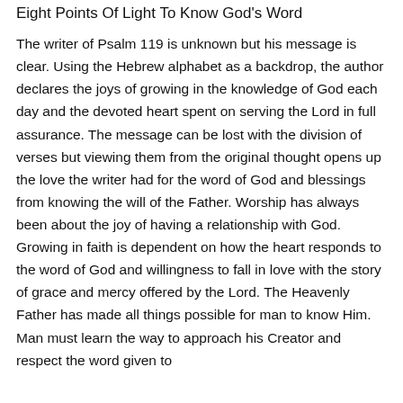Eight Points Of Light To Know God's Word
The writer of Psalm 119 is unknown but his message is clear. Using the Hebrew alphabet as a backdrop, the author declares the joys of growing in the knowledge of God each day and the devoted heart spent on serving the Lord in full assurance. The message can be lost with the division of verses but viewing them from the original thought opens up the love the writer had for the word of God and blessings from knowing the will of the Father. Worship has always been about the joy of having a relationship with God. Growing in faith is dependent on how the heart responds to the word of God and willingness to fall in love with the story of grace and mercy offered by the Lord. The Heavenly Father has made all things possible for man to know Him. Man must learn the way to approach his Creator and respect the word given to